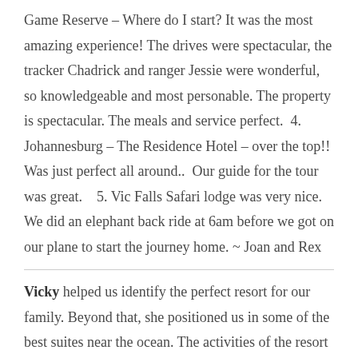Game Reserve – Where do I start? It was the most amazing experience! The drives were spectacular, the tracker Chadrick and ranger Jessie were wonderful, so knowledgeable and most personable. The property is spectacular. The meals and service perfect.  4. Johannesburg – The Residence Hotel – over the top!! Was just perfect all around..  Our guide for the tour was great.   5. Vic Falls Safari lodge was very nice.  We did an elephant back ride at 6am before we got on our plane to start the journey home. ~ Joan and Rex
Vicky helped us identify the perfect resort for our family. Beyond that, she positioned us in some of the best suites near the ocean. The activities of the resort were appropriate for our inter-generational family trip.